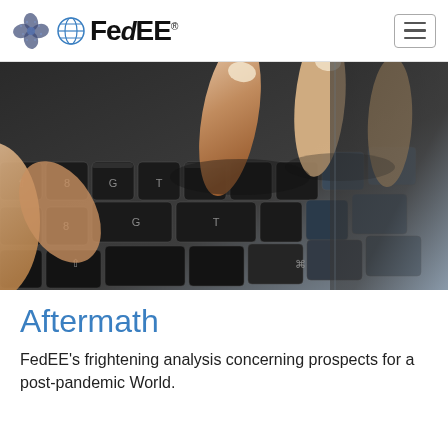FedEE
[Figure (photo): Close-up photograph of a person's fingers typing on a dark laptop keyboard, with keys and fingernails visible in sharp detail.]
Aftermath
FedEE's frightening analysis concerning prospects for a post-pandemic World.